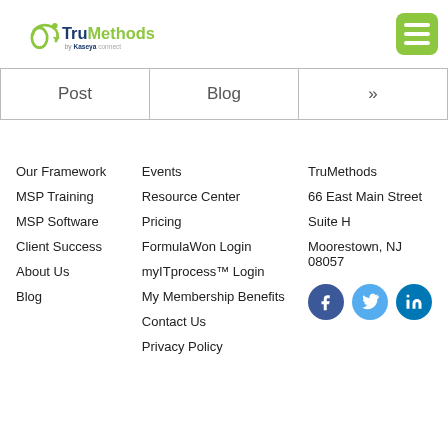TruMethods by Kaseya
Post
Blog
»
Our Framework
MSP Training
MSP Software
Client Success
About Us
Blog
Events
Resource Center
Pricing
FormulaWon Login
myITprocess™ Login
My Membership Benefits
Contact Us
Privacy Policy
TruMethods
66 East Main Street
Suite H
Moorestown, NJ 08057
[Figure (logo): Social media icons: Facebook, Twitter, LinkedIn]